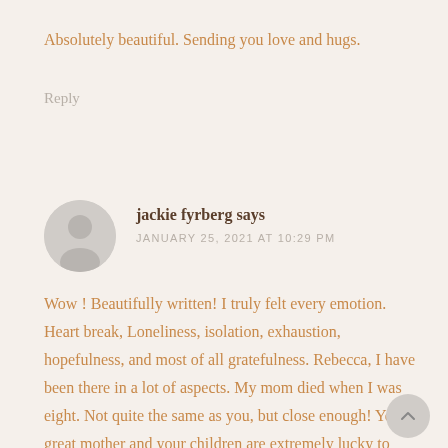Absolutely beautiful. Sending you love and hugs.
Reply
jackie fyrberg says
JANUARY 25, 2021 AT 10:29 PM
Wow ! Beautifully written! I truly felt every emotion. Heart break, Loneliness, isolation, exhaustion, hopefulness, and most of all gratefulness. Rebecca, I have been there in a lot of aspects. My mom died when I was eight. Not quite the same as you, but close enough! Your a great mother and your children are extremely lucky to have you as a mom. Just